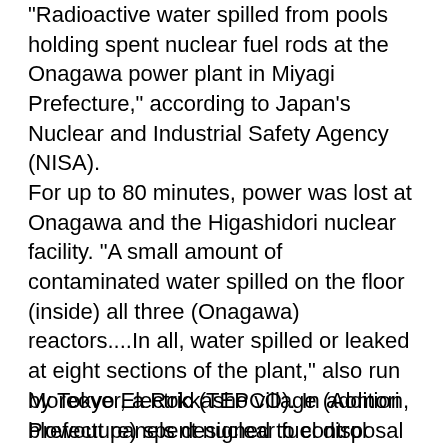"Radioactive water spilled from pools holding spent nuclear fuel rods at the Onagawa power plant in Miyagi Prefecture," according to Japan's Nuclear and Industrial Safety Agency (NISA).
For up to 80 minutes, power was lost at Onagawa and the Higashidori nuclear facility. "A small amount of contaminated water spilled on the floor (inside) all three (Onagawa) reactors....In all, water spilled or leaked at eight sections of the plant," also run by Tokyo Electric (TEPCO). In addition, blowout panels designed to control pressure were damaged in reactor number three's turbine building, TEPCO saying a complete damage assessment was ongoing.
Moreover, a Rokkasho village (Aomori Prefecture) spent nuclear fuel disposal facility also lost power temporarily. The